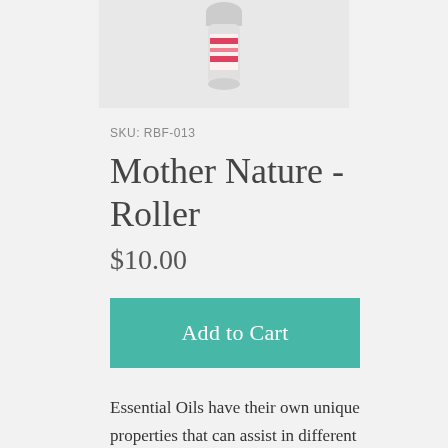[Figure (photo): Partial product photo of a roller bottle with pink and red label, cropped at top of page]
SKU: RBF-013
Mother Nature - Roller
$10.00
Add to Cart
Essential Oils have their own unique properties that can assist in different areas of the body. However, Win Beautifully does not make any medical claims, so feel free to do some personal research on each every ingredient of the formulas that you